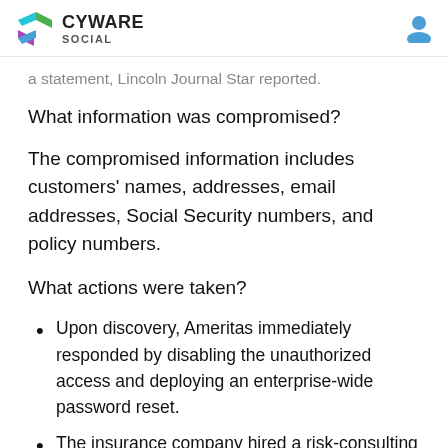CYWARE SOCIAL
a statement, Lincoln Journal Star reported.
What information was compromised?
The compromised information includes customers' names, addresses, email addresses, Social Security numbers, and policy numbers.
What actions were taken?
Upon discovery, Ameritas immediately responded by disabling the unauthorized access and deploying an enterprise-wide password reset.
The insurance company hired a risk-consulting firm to investigate the incident.
The company has implemented security